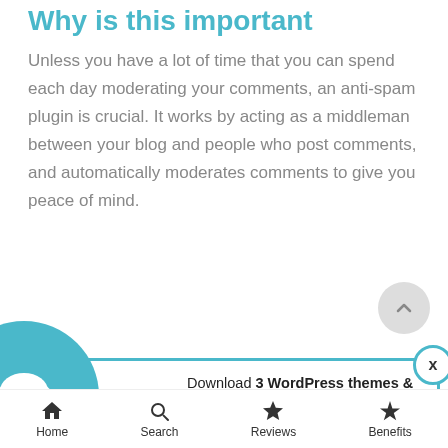Why is this important
Unless you have a lot of time that you can spend each day moderating your comments, an anti-spam plugin is crucial. It works by acting as a middleman between your blog and people who post comments, and automatically moderates comments to give you peace of mind.
How to Achieve It
Download 3 WordPress themes & plugins with lifetime access for FREE!
Click here to Join
Home  Search  Reviews  Benefits